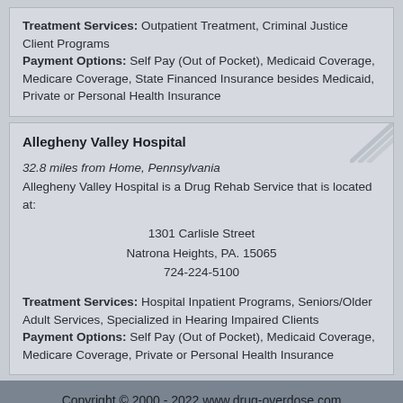Treatment Services: Outpatient Treatment, Criminal Justice Client Programs
Payment Options: Self Pay (Out of Pocket), Medicaid Coverage, Medicare Coverage, State Financed Insurance besides Medicaid, Private or Personal Health Insurance
Allegheny Valley Hospital
32.8 miles from Home, Pennsylvania
Allegheny Valley Hospital is a Drug Rehab Service that is located at:
1301 Carlisle Street
Natrona Heights, PA. 15065
724-224-5100
Treatment Services: Hospital Inpatient Programs, Seniors/Older Adult Services, Specialized in Hearing Impaired Clients
Payment Options: Self Pay (Out of Pocket), Medicaid Coverage, Medicare Coverage, Private or Personal Health Insurance
Copyright © 2000 - 2022 www.drug-overdose.com
LIVE CHAT
TEXT US